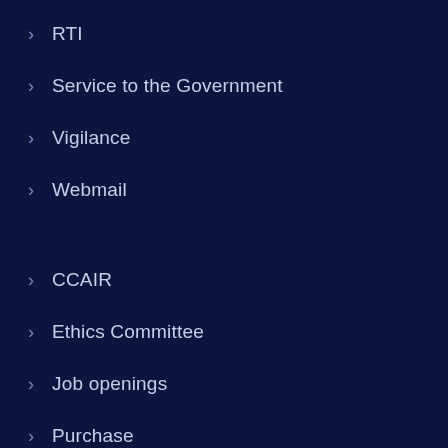RTI
Service to the Government
Vigilance
Webmail
CCAIR
Ethics Committee
Job openings
Purchase
Tender Notices
NIRF
Circulars
Forms
List of Holidays
Notices under E-gov portal
Rajbhasha Vibhag